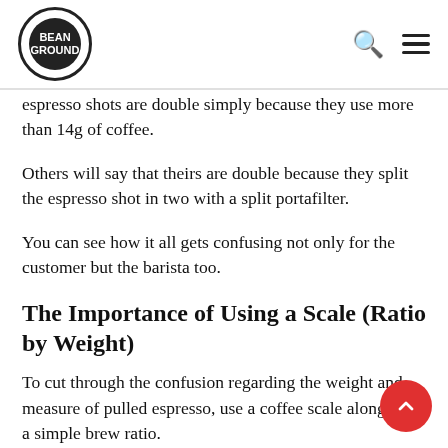Bean Ground
espresso shots are double simply because they use more than 14g of coffee.
Others will say that theirs are double because they split the espresso shot in two with a split portafilter.
You can see how it all gets confusing not only for the customer but the barista too.
The Importance of Using a Scale (Ratio by Weight)
To cut through the confusion regarding the weight and measure of pulled espresso, use a coffee scale along with a simple brew ratio.